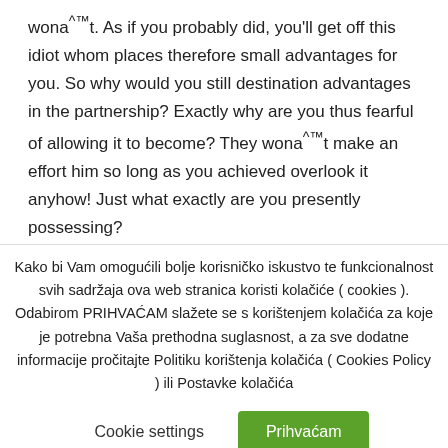wona^™t. As if you probably did, you'll get off this idiot whom places therefore small advantages for you. So why would you still destination advantages in the partnership? Exactly why are you thus fearful of allowing it to become? They wona^™t make an effort him so long as you achieved overlook it anyhow! Just what exactly are you presently possessing?
Kako bi Vam omogućili bolje korisničko iskustvo te funkcionalnost svih sadržaja ova web stranica koristi kolačiće ( cookies ). Odabirom PRIHVAĆAM slažete se s korištenjem kolačića za koje je potrebna Vaša prethodna suglasnost, a za sve dodatne informacije pročitajte Politiku korištenja kolačića ( Cookies Policy ) ili Postavke kolačića
Cookie settings
Prihvaćam